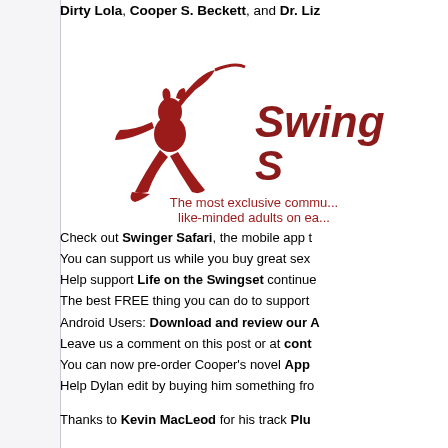Dirty Lola, Cooper S. Beckett, and Dr. Liz...
[Figure (logo): Swinger Safari logo with a red silhouette of a woman and text 'Swinger Safari' with tagline 'The most exclusive community of like-minded adults on earth']
Check out Swinger Safari, the mobile app t...
You can support us while you buy great sex...
Help support Life on the Swingset continue...
The best FREE thing you can do to support...
Android Users: Download and review our A...
Leave us a comment on this post or at cont...
You can now pre-order Cooper's novel App...
Help Dylan edit by buying him something fro...
Thanks to Kevin MacLeod for his track Plu...